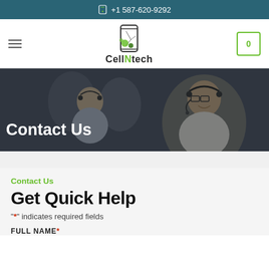+1 587-620-9292
[Figure (logo): CellNtech logo with phone icon and green splatter design]
[Figure (photo): Hero banner with call center agents wearing headsets, overlaid with dark translucent color]
Contact Us
Contact Us
Get Quick Help
"*" indicates required fields
FULL NAME*